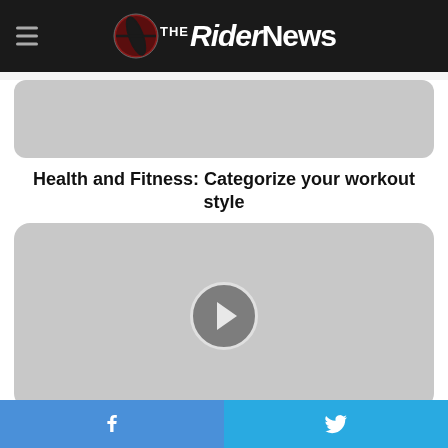The Rider News
[Figure (photo): Gray placeholder image for article thumbnail (top)]
Health and Fitness: Categorize your workout style
[Figure (other): Gray placeholder image with a circular play/next button chevron in the center]
Editorial: Left in the dark this holiday season
Facebook | Twitter share buttons